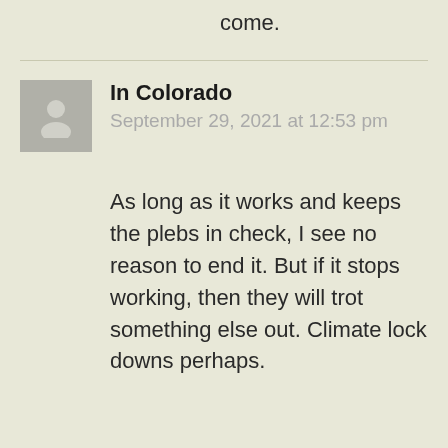come.
In Colorado
September 29, 2021 at 12:53 pm
As long as it works and keeps the plebs in check, I see no reason to end it. But if it stops working, then they will trot something else out. Climate lock downs perhaps.
oxide
September 29, 2021 at 1:03 pm